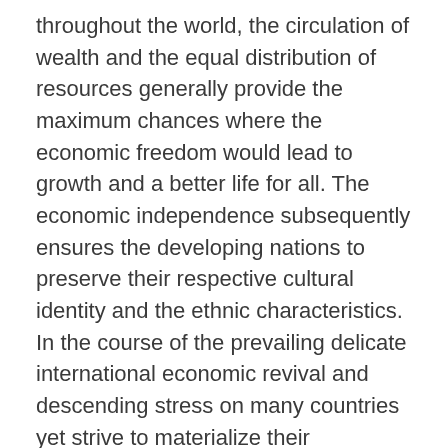throughout the world, the circulation of wealth and the equal distribution of resources generally provide the maximum chances where the economic freedom would lead to growth and a better life for all. The economic independence subsequently ensures the developing nations to preserve their respective cultural identity and the ethnic characteristics. In the course of the prevailing delicate international economic revival and descending stress on many countries yet strive to materialize their development goals through bilateral and multilateral cooperation for the industrial and economic capacity enhancement.
The current political and economic landscape in the Asia is readily lingering for squiggle a new era of economic revival, bilateral and multilateral security arrangements. The rise of China particularly